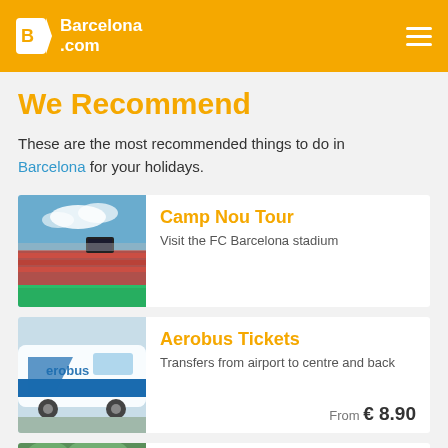Barcelona.com
We Recommend
These are the most recommended things to do in Barcelona for your holidays.
[Figure (photo): Camp Nou stadium interior with green pitch and red stadium seats under blue sky]
Camp Nou Tour
Visit the FC Barcelona stadium
[Figure (photo): Aerobus coach with blue and white livery and Aerobus branding]
Aerobus Tickets
Transfers from airport to centre and back
From € 8.90
[Figure (photo): Barcelona Bus Tour partial view]
Barcelona Bus Tour